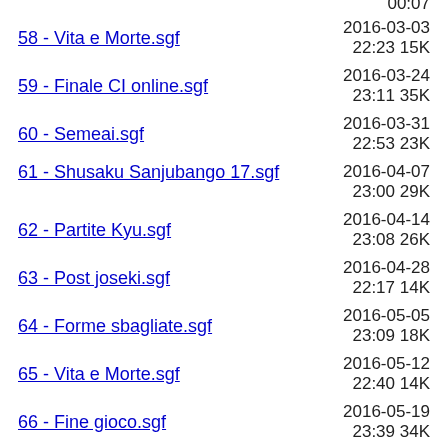58 - Vita e Morte.sgf
59 - Finale CI online.sgf
60 - Semeai.sgf
61 - Shusaku Sanjubango 17.sgf
62 - Partite Kyu.sgf
63 - Post joseki.sgf
64 - Forme sbagliate.sgf
65 - Vita e Morte.sgf
66 - Fine gioco.sgf
67 - Positional judgement.sgf
68 - Partite torneo a squadre FIGG.sgf